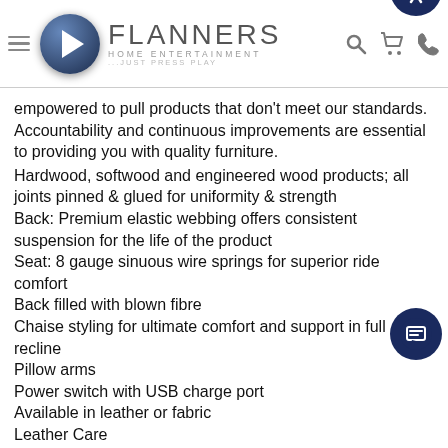Flanners Home Entertainment — Just Press Play
empowered to pull products that don't meet our standards. Accountability and continuous improvements are essential to providing you with quality furniture.
Hardwood, softwood and engineered wood products; all joints pinned & glued for uniformity & strength
Back: Premium elastic webbing offers consistent suspension for the life of the product
Seat: 8 gauge sinuous wire springs for superior ride comfort
Back filled with blown fibre
Chaise styling for ultimate comfort and support in full recline
Pillow arms
Power switch with USB charge port
Available in leather or fabric
Leather Care
Pigmented, Semi – Aniline Leathers:
To keep your leather looking beautiful for a long time come please follow these instructions:
Leather should be cleaned often. Frequent and gentle